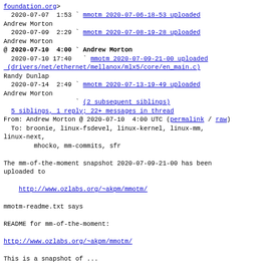foundation.org>
  2020-07-07  1:53 ` mmotm 2020-07-06-18-53 uploaded
Andrew Morton
  2020-07-09  2:29 ` mmotm 2020-07-08-19-28 uploaded
Andrew Morton
@ 2020-07-10  4:00 ` Andrew Morton
  2020-07-10 17:40   ` mmotm 2020-07-09-21-00 uploaded (drivers/net/ethernet/mellanox/mlx5/core/en_main.c)
Randy Dunlap
  2020-07-14  2:49 ` mmotm 2020-07-13-19-49 uploaded
Andrew Morton
                   ` (2 subsequent siblings)
  5 siblings, 1 reply; 22+ messages in thread
From: Andrew Morton @ 2020-07-10  4:00 UTC (permalink / raw)
  To: broonie, linux-fsdevel, linux-kernel, linux-mm, linux-next,
        mhocko, mm-commits, sfr

The mm-of-the-moment snapshot 2020-07-09-21-00 has been uploaded to

    http://www.ozlabs.org/~akpm/mmotm/

mmotm-readme.txt says

README for mm-of-the-moment:

http://www.ozlabs.org/~akpm/mmotm/

This is a snapshot of ...